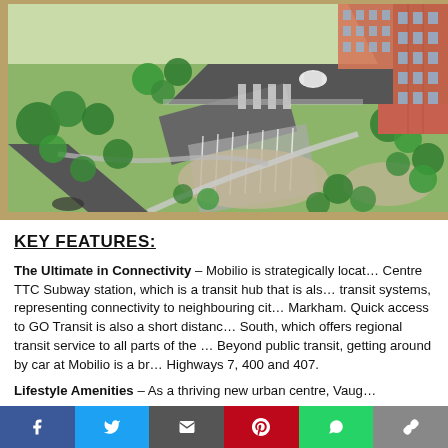[Figure (illustration): Aerial architectural rendering of Mobilio development showing green landscaping, parking area, pathways, and multi-storey brick residential building with surrounding roads and a white car visible.]
KEY  FEATURES:
The Ultimate in Connectivity – Mobilio is strategically locat… Centre TTC Subway station, which is a transit hub that is als… transit systems, representing connectivity to neighbouring cit… Markham. Quick access to GO Transit is also a short distanc… South, which offers regional transit service to all parts of the … Beyond public transit, getting around by car at Mobilio is a br… Highways 7, 400 and 407.
Lifestyle Amenities – As a thriving new urban centre,  Vaug…